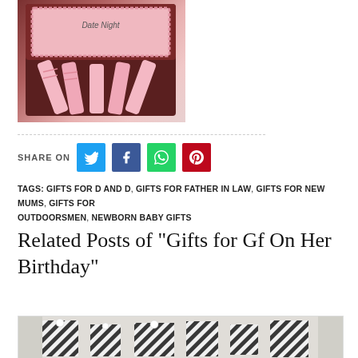[Figure (photo): Open box containing pink candy sticks or wafers labeled 'Date Night' on dark brown box interior]
SHARE ON
TAGS: GIFTS FOR D AND D, GIFTS FOR FATHER IN LAW, GIFTS FOR NEW MUMS, GIFTS FOR OUTDOORSMEN, NEWBORN BABY GIFTS
Related Posts of "Gifts for Gf On Her Birthday"
[Figure (photo): Photo showing wrapped gifts with black and white zebra print pattern]